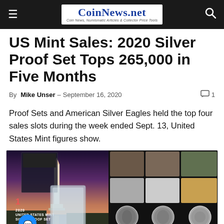CoinNews.net — Coin News, Numismatic Articles & Collector Price Tools
US Mint Sales: 2020 Silver Proof Set Tops 265,000 in Five Months
By Mike Unser - September 16, 2020  💬 1
Proof Sets and American Silver Eagles held the top four sales slots during the week ended Sept. 13, United States Mint figures show.
[Figure (photo): 2020 United States Mint Silver Proof Set displayed with packaging and coins against a backdrop of the Washington Monument at dusk]